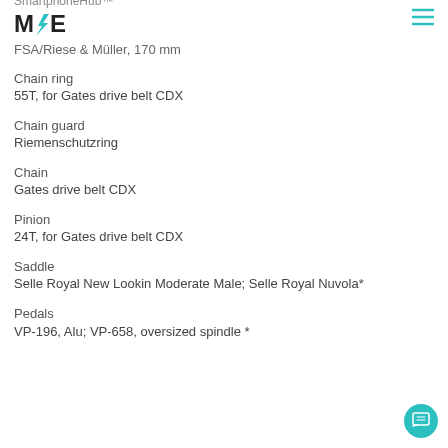SmartphoneHub™
[Figure (logo): M|E logo with lightning bolt, teal colored]
FSA/Riese & Müller, 170 mm
Chain ring
55T, for Gates drive belt CDX
Chain guard
Riemenschutzring
Chain
Gates drive belt CDX
Pinion
24T, for Gates drive belt CDX
Saddle
Selle Royal New Lookin Moderate Male; Selle Royal Nuvola*
Pedals
VP-196, Alu; VP-658, oversized spindle *